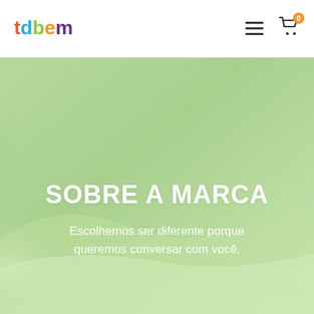[Figure (logo): tdbem colorful logo with each letter in a different color: t=orange, d=blue, b=green, e=orange, m=purple]
[Figure (infographic): Hamburger menu icon (three horizontal lines) and shopping cart icon with orange badge showing 0]
[Figure (illustration): Hero banner with green gradient background featuring soft organic blob shapes in lighter and darker green tones]
SOBRE A MARCA
Escolhemos ser diferente porque queremos conversar com você.